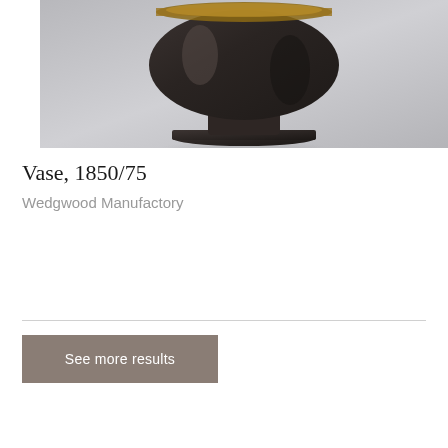[Figure (photo): A dark brown/black ceramic vase or footed bowl with a pedestal base, photographed against a light gray gradient background. The piece appears to be a Wedgwood black basalt ware item with a copper or gold decorative band around the rim.]
Vase, 1850/75
Wedgwood Manufactory
See more results